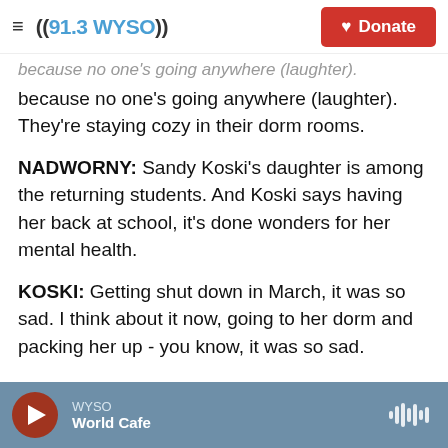((91.3 WYSO)) | Donate
because no one's going anywhere (laughter). They're staying cozy in their dorm rooms.
NADWORNY: Sandy Koski's daughter is among the returning students. And Koski says having her back at school, it's done wonders for her mental health.
KOSKI: Getting shut down in March, it was so sad. I think about it now, going to her dorm and packing her up - you know, it was so sad.
NADWORNY: But having students back? It's a mixed bag for residents. In many college towns,
WYSO | World Cafe